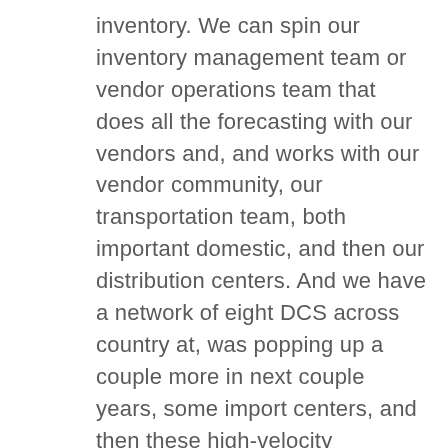inventory. We can spin our inventory management team or vendor operations team that does all the forecasting with our vendors and, and works with our vendor community, our transportation team, both important domestic, and then our distribution centers. And we have a network of eight DCS across country at, was popping up a couple more in next couple years, some import centers, and then these high-velocity crosstalks cross country. And so I spend a great deal of my time, really focused on synchronizing the actions and priorities across